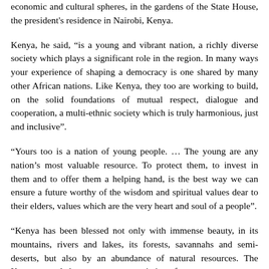economic and cultural spheres, in the gardens of the State House, the president's residence in Nairobi, Kenya.
Kenya, he said, “is a young and vibrant nation, a richly diverse society which plays a significant role in the region. In many ways your experience of shaping a democracy is one shared by many other African nations. Like Kenya, they too are working to build, on the solid foundations of mutual respect, dialogue and cooperation, a multi-ethnic society which is truly harmonious, just and inclusive”.
“Yours too is a nation of young people. … The young are any nation’s most valuable resource. To protect them, to invest in them and to offer them a helping hand, is the best way we can ensure a future worthy of the wisdom and spiritual values dear to their elders, values which are the very heart and soul of a people”.
“Kenya has been blessed not only with immense beauty, in its mountains, rivers and lakes, its forests, savannahs and semi-deserts, but also by an abundance of natural resources. The Kenyan people have a strong appreciation of